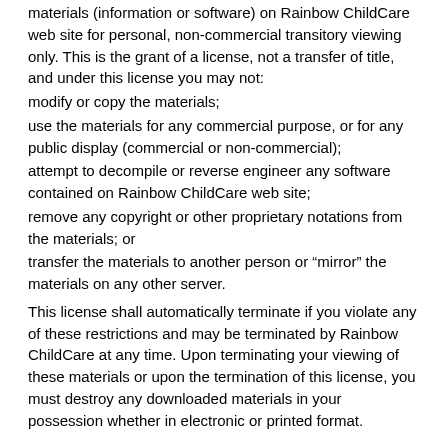materials (information or software) on Rainbow ChildCare web site for personal, non-commercial transitory viewing only. This is the grant of a license, not a transfer of title, and under this license you may not:
modify or copy the materials;
use the materials for any commercial purpose, or for any public display (commercial or non-commercial);
attempt to decompile or reverse engineer any software contained on Rainbow ChildCare web site;
remove any copyright or other proprietary notations from the materials; or
transfer the materials to another person or “mirror” the materials on any other server.
This license shall automatically terminate if you violate any of these restrictions and may be terminated by Rainbow ChildCare at any time. Upon terminating your viewing of these materials or upon the termination of this license, you must destroy any downloaded materials in your possession whether in electronic or printed format.
Disclaimer
The materials on Rainbow ChildCare web site are provided “as is”. Rainbow ChildCare makes no warranties, expressed or implied, and hereby disclaims and negates all other warranties, including without